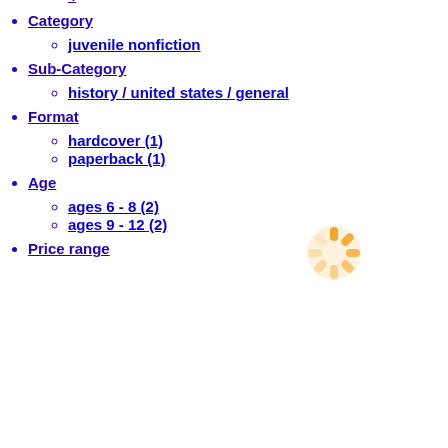4
Category
juvenile nonfiction
Sub-Category
history / united states / general
Format
hardcover (1)
paperback (1)
Age
ages 6 - 8 (2)
ages 9 - 12 (2)
Price range
[Figure (illustration): Orange loading spinner icon]